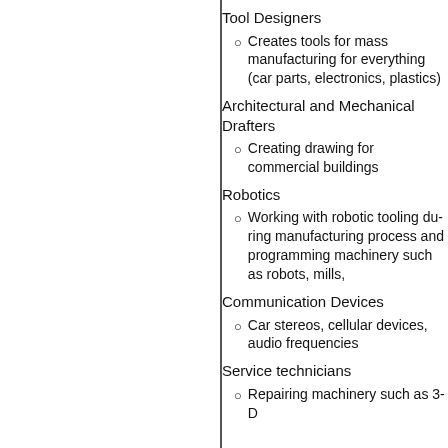Tool Designers
Creates tools for mass manufacturing for everything (car parts, electronics, plastics)
Architectural and Mechanical Drafters
Creating drawing for commercial buildings
Robotics
Working with robotic tooling during manufacturing process and programming machinery such as robots, mills,
Communication Devices
Car stereos, cellular devices, audio frequencies
Service technicians
Repairing machinery such as 3-D